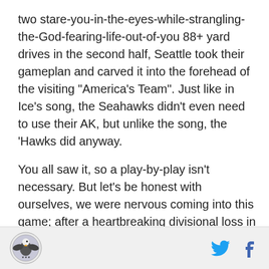two stare-you-in-the-eyes-while-strangling-the-God-fearing-life-out-of-you 88+ yard drives in the second half, Seattle took their gameplan and carved it into the forehead of the visiting "America's Team". Just like in Ice's song, the Seahawks didn't even need to use their AK, but unlike the song, the 'Hawks did anyway.
You all saw it, so a play-by-play isn't necessary. But let's be honest with ourselves, we were nervous coming into this game; after a heartbreaking divisional loss in Week 1 swabbed much of the luster from our preseason excitement, and with 2011's best team lurking in Week 3, we had to fight the feeling that this was a must-win game. Lose this one, and a loss to
[Figure (logo): Circular logo with eagle/bird emblem]
[Figure (logo): Twitter and Facebook social media icons]